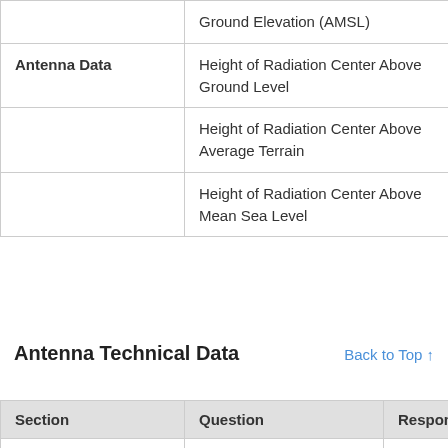| Section | Question | Response |
| --- | --- | --- |
|  | Ground Elevation (AMSL) | 916 meters |
| Antenna Data | Height of Radiation Center Above Ground Level | 290 meters |
|  | Height of Radiation Center Above Average Terrain | 281 meters |
|  | Height of Radiation Center Above Mean Sea Level | 1206 meters |
Antenna Technical Data
Back to Top ↑
| Section | Question | Response |
| --- | --- | --- |